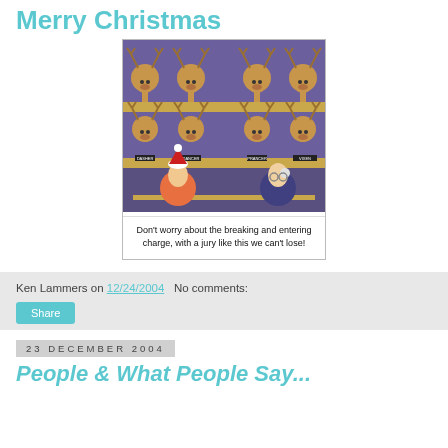Merry Christmas
[Figure (illustration): Christmas cartoon showing reindeer heads mounted on two shelves labeled with reindeer names (top row: Dasher, Dancer, Prancer, Vixen; bottom row: Donner, Cupid, Comet, Blitzen), and Santa Claus sitting at a table with a lawyer/advisor. Caption reads: Don't worry about the breaking and entering charge, with a jury like this we can't lose!]
Don't worry about the breaking and entering charge, with a jury like this we can't lose!
Ken Lammers on 12/24/2004    No comments:
23 December 2004
People & What People Say...